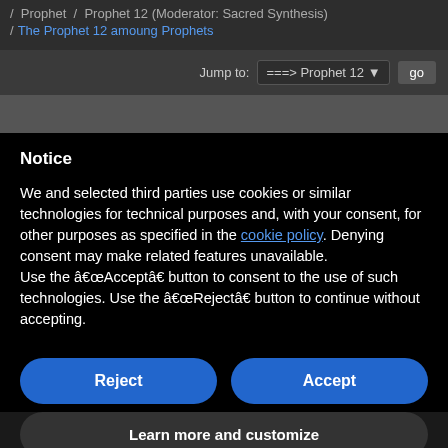/ Prophet / Prophet 12 (Moderator: Sacred Synthesis) / The Prophet 12 amoung Prophets
Jump to: ===> Prophet 12  go
Notice
We and selected third parties use cookies or similar technologies for technical purposes and, with your consent, for other purposes as specified in the cookie policy. Denying consent may make related features unavailable.
Use the â€œAcceptâ€� button to consent to the use of such technologies. Use the â€œRejectâ€� button to continue without accepting.
Reject
Accept
Learn more and customize